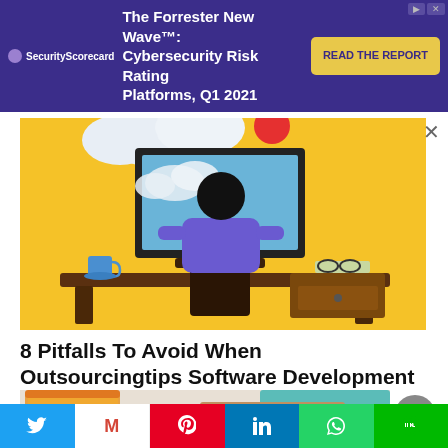[Figure (illustration): SecurityScorecard advertisement banner with purple background. Text: 'The Forrester New Wave™: Cybersecurity Risk Rating Platforms, Q1 2021'. Yellow 'READ THE REPORT' button on right.]
[Figure (illustration): Illustration of a person with dark hair sitting at a desk with a computer monitor, cloud graphics, coffee cup, glasses, and book on a yellow/golden background.]
8 Pitfalls To Avoid When Outsourcingtips Software Development Overseas
[Figure (illustration): Partial illustration showing colorful folder/document graphics on a beige background with orange and teal elements.]
[Figure (other): Social sharing bar with Twitter (blue), Gmail (white/M), Pinterest (red), LinkedIn (blue), WhatsApp (green), Line (green) buttons.]